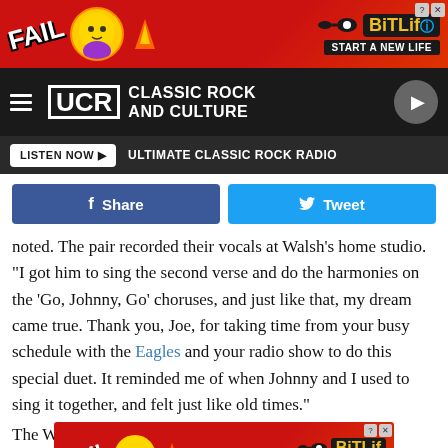[Figure (screenshot): BitLife advertisement banner with 'FAIL' text and cartoon character, orange/red background, with 'START A NEW LIFE' text]
[Figure (screenshot): UCR Classic Rock and Culture navigation bar with hamburger menu, logo, and play button]
[Figure (screenshot): Listen Now button bar with ULTIMATE CLASSIC ROCK RADIO text]
[Figure (screenshot): Facebook Share and Twitter Tweet social sharing buttons]
noted. The pair recorded their vocals at Walsh's home studio. "I got him to sing the second verse and do the harmonies on the 'Go, Johnny, Go' choruses, and just like that, my dream came true. Thank you, Joe, for taking time from your busy schedule with the Eagles and your radio show to do this special duet. It reminded me of when Johnny and I used to sing it together, and felt just like old times."
[Figure (screenshot): BitLife advertisement banner (bottom) with 'FAIL' text and cartoon character]
The Wi... began playing...